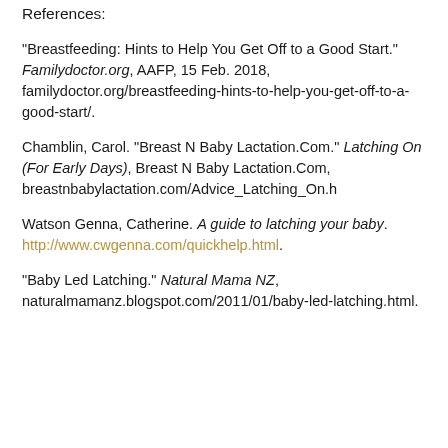References:
"Breastfeeding: Hints to Help You Get Off to a Good Start." Familydoctor.org, AAFP, 15 Feb. 2018, familydoctor.org/breastfeeding-hints-to-help-you-get-off-to-a-good-start/.
Chamblin, Carol. "Breast N Baby Lactation.Com." Latching On (For Early Days), Breast N Baby Lactation.Com, breastnbabylactation.com/Advice_Latching_On.h
Watson Genna, Catherine. A guide to latching your baby. http://www.cwgenna.com/quickhelp.html.
"Baby Led Latching." Natural Mama NZ, naturalmamanz.blogspot.com/2011/01/baby-led-latching.html.